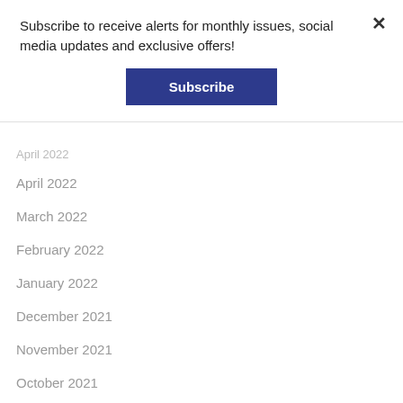Subscribe to receive alerts for monthly issues, social media updates and exclusive offers!
Subscribe
April 2022
March 2022
February 2022
January 2022
December 2021
November 2021
October 2021
September 2021
August 2021
July 2021
June 2021
May 2021